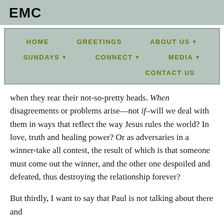EMC
[Figure (screenshot): Navigation menu bar with links: HOME, GREETINGS, ABOUT US, SUNDAYS, CONNECT, MEDIA, CONTACT US on a sage green background]
when they rear their not-so-pretty heads. When disagreements or problems arise—not if–will we deal with them in ways that reflect the way Jesus rules the world? In love, truth and healing power? Or as adversaries in a winner-take all contest, the result of which is that someone must come out the winner, and the other one despoiled and defeated, thus destroying the relationship forever?
But thirdly, I want to say that Paul is not talking about there and